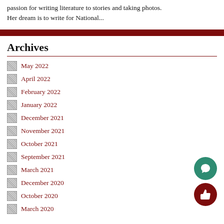passion for writing literature to stories and taking photos. Her dream is to write for National...
Archives
May 2022
April 2022
February 2022
January 2022
December 2021
November 2021
October 2021
September 2021
March 2021
December 2020
October 2020
March 2020